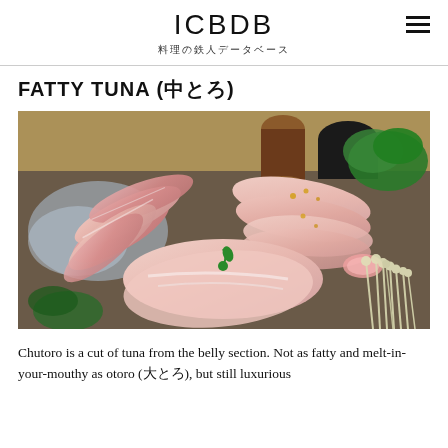ICBDB 料理の鉄人データベース
FATTY TUNA (中とろ)
[Figure (photo): A platter of fatty tuna (chutoro) sashimi slices arranged on a wooden board, with garnishes including enoki mushrooms, radish, and green herbs. The fish is pale pink with white marbling.]
Chutoro is a cut of tuna from the belly section. Not as fatty and melt-in-your-mouthy as otoro (大とろ), but still luxurious